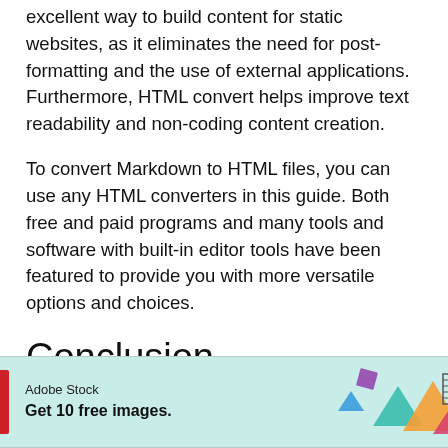excellent way to build content for static websites, as it eliminates the need for post-formatting and the use of external applications. Furthermore, HTML convert helps improve text readability and non-coding content creation.
To convert Markdown to HTML files, you can use any HTML converters in this guide. Both free and paid programs and many tools and software with built-in editor tools have been featured to provide you with more versatile options and choices.
Conclusion
The best Markdown to HTML converter is the
[Figure (infographic): Adobe Stock advertisement banner with logo, text 'Adobe Stock Get 10 free images.' and decorative geometric shapes on teal background]